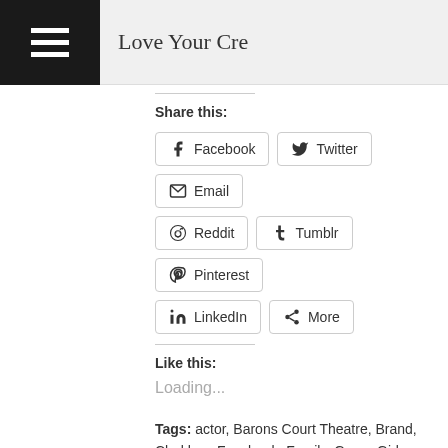Love Your Cre...
Share this:
Facebook, Twitter, Email, Reddit, Tumblr, Pinterest, LinkedIn, More
Like this:
Loading...
Tags: actor, Barons Court Theatre, Brand, Chekhov, Facebook, Family, Green Girl Productions, Marysia, social media, The Seagull, twitter, Viral marketing, Viral video, web series, YouTube
[Figure (infographic): Row of 7 social media icon buttons: Facebook (blue), Twitter (light blue), Google+ (red), Pinterest (dark red), Buffer (dark grey), LinkedIn (blue), Instagram (brown)]